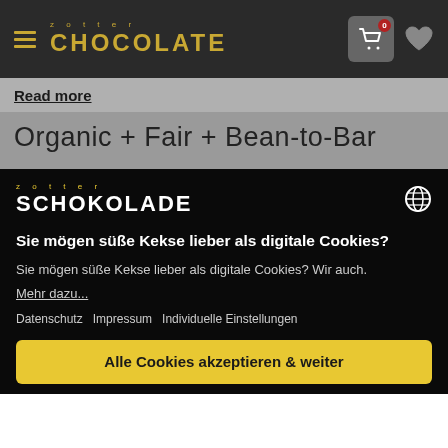[Figure (logo): Zotter Chocolate logo with hamburger menu, cart with 0 badge, and heart icon on dark grey navigation bar]
Read more
Organic + Fair + Bean-to-Bar
[Figure (logo): Zotter Schokolade logo in yellow/white on black background with globe icon]
Sie mögen süße Kekse lieber als digitale Cookies?
Sie mögen süße Kekse lieber als digitale Cookies? Wir auch.
Mehr dazu...
Datenschutz   Impressum   Individuelle Einstellungen
Alle Cookies akzeptieren & weiter